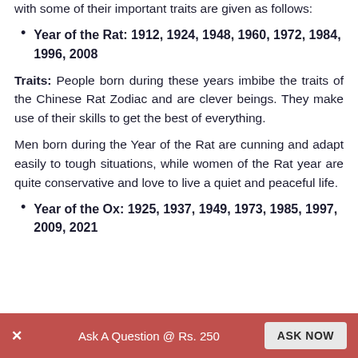with some of their important traits are given as follows:
Year of the Rat: 1912, 1924, 1948, 1960, 1972, 1984, 1996, 2008
Traits: People born during these years imbibe the traits of the Chinese Rat Zodiac and are clever beings. They make use of their skills to get the best of everything.
Men born during the Year of the Rat are cunning and adapt easily to tough situations, while women of the Rat year are quite conservative and love to live a quiet and peaceful life.
Year of the Ox: 1925, 1937, 1949, 1973, 1985, 1997, 2009, 2021
Ask A Question @ Rs. 250  ASK NOW